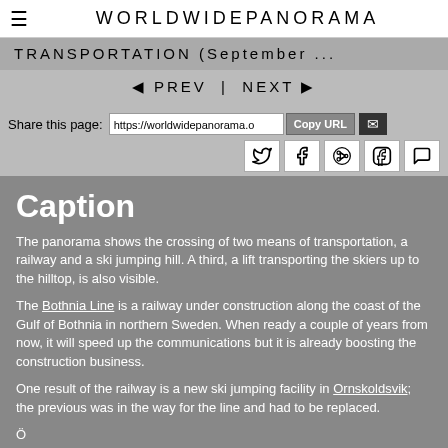WORLDWIDEPANORAMA
TRANSPORTATION (September ...
◄ PREV | NEXT ►
Share this page: https://worldwidepanorama.o  Copy URL  [mail] [twitter] [facebook] [pinterest] [linkedin] [whatsapp]
Caption
The panorama shows the crossing of two means of transportation, a railway and a ski jumping hill. A third, a lift transporting the skiers up to the hilltop, is also visible.
The Bothnia Line is a railway under construction along the coast of the Gulf of Bothnia in northern Sweden. When ready a couple of years from now, it will speed up the communications but it is already boosting the construction business.
One result of the railway is a new ski jumping facility in Ornskoldsvik; the previous was in the way for the line and had to be replaced.
Ö...